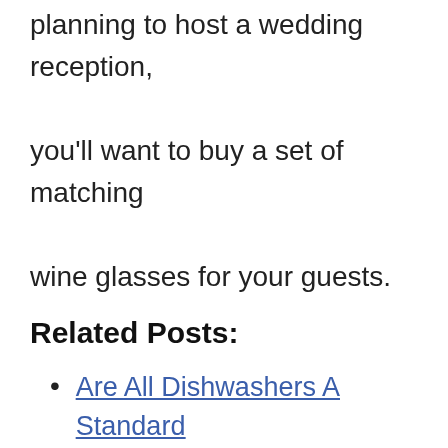planning to host a wedding reception, you'll want to buy a set of matching wine glasses for your guests.
Related Posts:
Are All Dishwashers A Standard Size?
What is the Standard Size of a Pantry By Pantry Type?
How Long Should You Take To